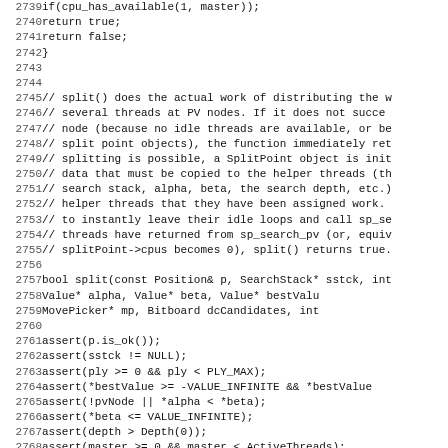Source code listing, lines 2739-2771, C++ chess engine split() function and assertions